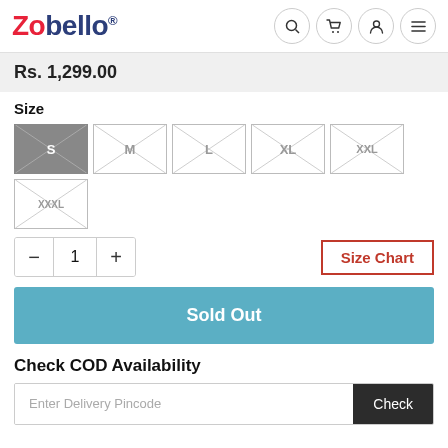Zobello® [search] [cart] [account] [menu]
Rs. 1,299.00
Size
[Figure (other): Size selection boxes: S (selected/grey), M, L, XL, XXL, XXXL — each shown as a box with crossed diagonal lines and a size letter in center]
- 1 +
Size Chart
Sold Out
Check COD Availability
Enter Delivery Pincode  Check